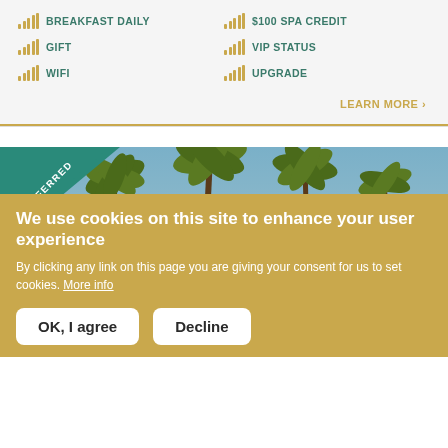BREAKFAST DAILY
$100 SPA CREDIT
GIFT
VIP STATUS
WIFI
UPGRADE
LEARN MORE >
[Figure (photo): Hotel exterior with palm trees against blue sky, PREFERRED badge overlay in top-left corner]
We use cookies on this site to enhance your user experience
By clicking any link on this page you are giving your consent for us to set cookies. More info
OK, I agree   Decline